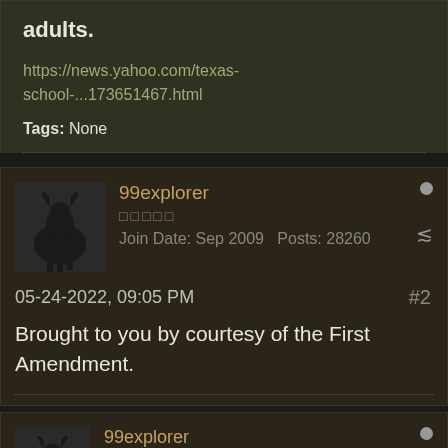adults.
https://news.yahoo.com/texas-school-...173651467.html
Tags: None
99explorer
Join Date: Sep 2009   Posts: 28260
05-24-2022, 09:05 PM
#2
Brought to you by courtesy of the First Amendment.
99explorer